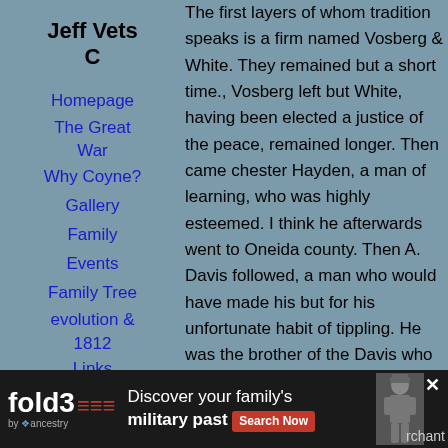Jeff Vets C
Homepage
The Great War
Why Coyne?
Gallery
Family
Events
Family Tree
evolution & 1812
Links
Contact me
My Blog
The first layers of whom tradition speaks is a firm named Vosberg & White. They remained but a short time., Vosberg left but White, having been elected a justice of the peace, remained longer. Then came chester Hayden, a man of learning, who was highly esteemed. I think he afterwards went to Oneida county. Then A. Davis followed, a man who would have made his but for his unfortunate habit of tippling. He was the brother of the Davis who was the first sheriff of Oswego county and who built the house now occupied by D.A. Delano and which, at that time, was the best house in this part of the county and was then a marvel of architectural beauty. He afterwards became connected with Thomas C Baker whom he somewhat seriously involved. Of the early lawyers, Joseph Helm was in many respects the most remarkable for peculiarities, caustic wit, laziness and an unforgiving disposition.
[Figure (infographic): Advertisement banner for fold3 by Ancestry: 'Discover your family's military past' with Search Now button and soldier image]